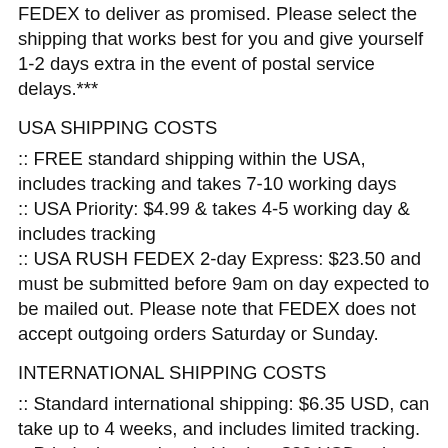FEDEX to deliver as promised. Please select the shipping that works best for you and give yourself 1-2 days extra in the event of postal service delays.***
USA SHIPPING COSTS
:: FREE standard shipping within the USA, includes tracking and takes 7-10 working days
:: USA Priority: $4.99 & takes 4-5 working day & includes tracking
:: USA RUSH FEDEX 2-day Express: $23.50 and must be submitted before 9am on day expected to be mailed out. Please note that FEDEX does not accept outgoing orders Saturday or Sunday.
INTERNATIONAL SHIPPING COSTS
:: Standard international shipping: $6.35 USD, can take up to 4 weeks, and includes limited tracking.
:: Priority international shipping: $32 USD, takes 7-14